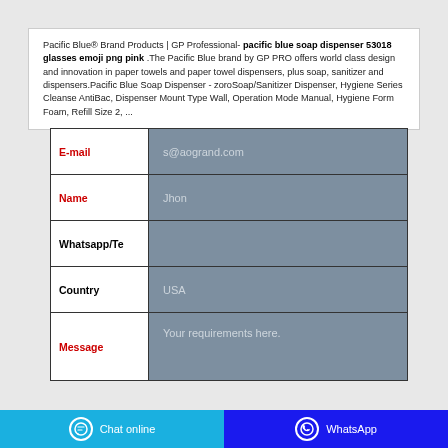Pacific Blue® Brand Products | GP Professional- pacific blue soap dispenser 53018 glasses emoji png pink .The Pacific Blue brand by GP PRO offers world class design and innovation in paper towels and paper towel dispensers, plus soap, sanitizer and dispensers.Pacific Blue Soap Dispenser - zoroSoap/Sanitizer Dispenser, Hygiene Series Cleanse AntiBac, Dispenser Mount Type Wall, Operation Mode Manual, Hygiene Form Foam, Refill Size 2, ...
| Field | Value |
| --- | --- |
| E-mail | s@aogrand.com |
| Name | Jhon |
| Whatsapp/Te |  |
| Country | USA |
| Message | Your requirements here. |